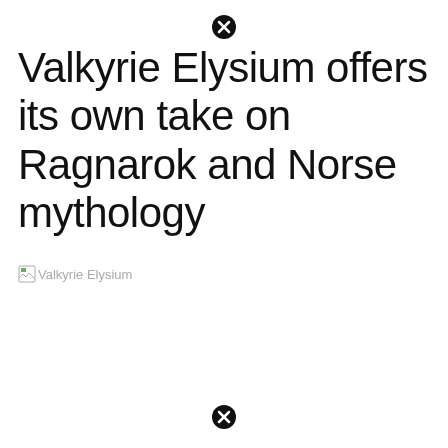[Figure (other): Close/dismiss icon circle with X at top center of page]
Valkyrie Elysium offers its own take on Ragnarok and Norse mythology
[Figure (other): Broken image placeholder for Valkyrie Elysium with alt text label]
[Figure (other): Close/dismiss icon circle with X at bottom center of page]